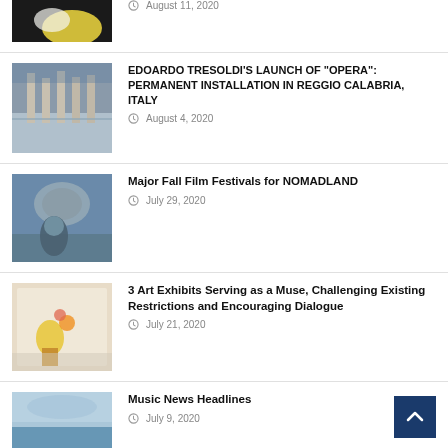[Figure (photo): Partial thumbnail image at top, yellowish artwork]
August 11, 2020
[Figure (photo): Architectural installation with pillars in Reggio Calabria, Italy]
EDOARDO TRESOLDI'S LAUNCH OF "OPERA": PERMANENT INSTALLATION IN REGGIO CALABRIA, ITALY
August 4, 2020
[Figure (photo): Person standing in front of coastal landscape, Nomadland film]
Major Fall Film Festivals for NOMADLAND
July 29, 2020
[Figure (photo): Colorful flowers in a vase art exhibit]
3 Art Exhibits Serving as a Muse, Challenging Existing Restrictions and Encouraging Dialogue
July 21, 2020
[Figure (photo): Music news partial thumbnail, sky or waves]
Music News Headlines
July 9, 2020